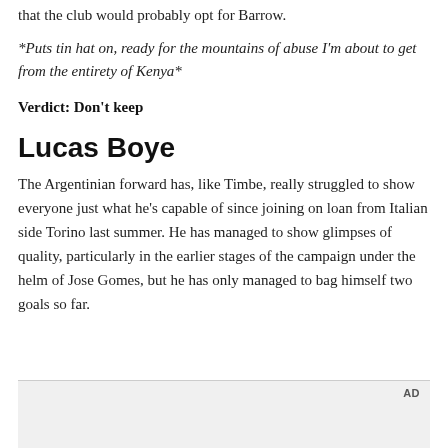that the club would probably opt for Barrow.
*Puts tin hat on, ready for the mountains of abuse I'm about to get from the entirety of Kenya*
Verdict: Don't keep
Lucas Boye
The Argentinian forward has, like Timbe, really struggled to show everyone just what he's capable of since joining on loan from Italian side Torino last summer. He has managed to show glimpses of quality, particularly in the earlier stages of the campaign under the helm of Jose Gomes, but he has only managed to bag himself two goals so far.
[Figure (other): Advertisement box with AD label]